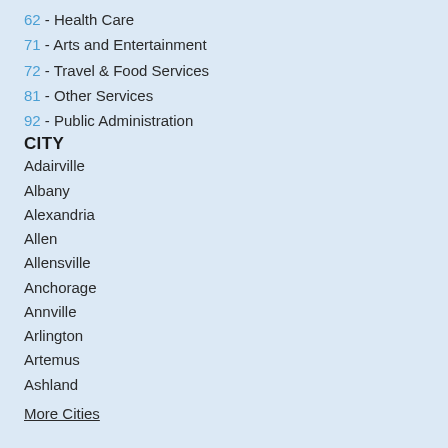62 - Health Care
71 - Arts and Entertainment
72 - Travel & Food Services
81 - Other Services
92 - Public Administration
CITY
Adairville
Albany
Alexandria
Allen
Allensville
Anchorage
Annville
Arlington
Artemus
Ashland
More Cities